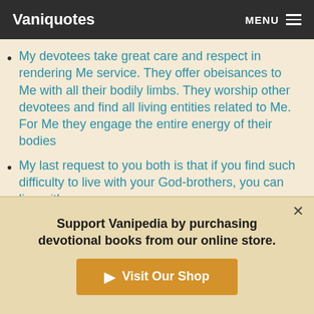Vaniquotes | MENU
My devotees take great care and respect in rendering Me service. They offer obeisances to Me with all their bodily limbs. They worship other devotees and find all living entities related to Me. For Me they engage the entire energy of their bodies
My last request to you both is that if you find such difficulty to live with your God-brothers, you can live with me
My sweetness is wonderful, infinite and full. No one in the three worlds can find its limit
Support Vanipedia by purchasing devotional books from our online store. Visit Our Shop